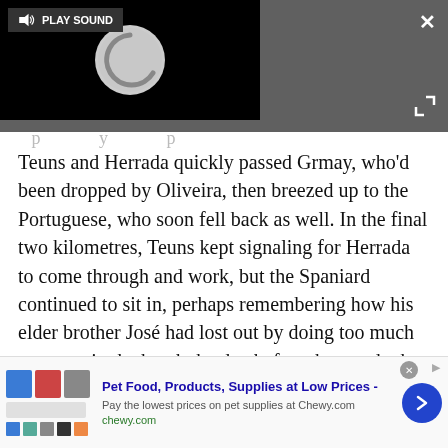[Figure (screenshot): Video player overlay with black background, a circular loading spinner in gray, a 'PLAY SOUND' button with speaker icon in top-left, a close X button top-right, and an expand icon bottom-right. Shown on a dark gray background.]
Teuns and Herrada quickly passed Grmay, who'd been dropped by Oliveira, then breezed up to the Portuguese, who soon fell back as well. In the final two kilometres, Teuns kept signaling for Herrada to come through and work, but the Spaniard continued to sit in, perhaps remembering how his elder brother José had lost out by doing too much too soon in the break the day before, but no doubt also mindful that the Belgian was pressing hard to take the race lead.
[Figure (screenshot): Advertisement banner for Chewy.com: 'Pet Food, Products, Supplies at Low Prices - Pay the lowest prices on pet supplies at Chewy.com' with product images on the left and a blue arrow button on the right.]